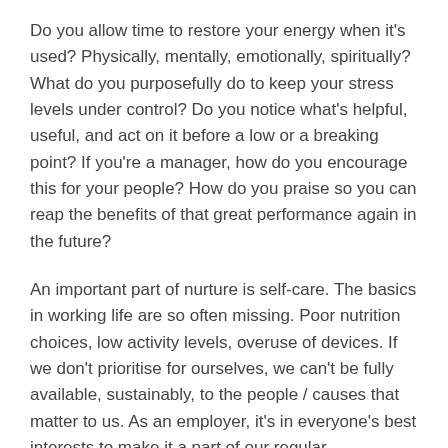Do you allow time to restore your energy when it's used? Physically, mentally, emotionally, spiritually? What do you purposefully do to keep your stress levels under control? Do you notice what's helpful, useful, and act on it before a low or a breaking point? If you're a manager, how do you encourage this for your people? How do you praise so you can reap the benefits of that great performance again in the future?
An important part of nurture is self-care. The basics in working life are so often missing. Poor nutrition choices, low activity levels, overuse of devices. If we don't prioritise for ourselves, we can't be fully available, sustainably, to the people / causes that matter to us. As an employer, it's in everyone's best interests to make it a part of our regular conversations with our employees and give support for healthy choices, and recognition for strong contribution. Often a simple thank you goes a miss. Ignore nurture and we'll see it in low productivity, higher and more frequent disputes, increasing absence levels and more. So, it